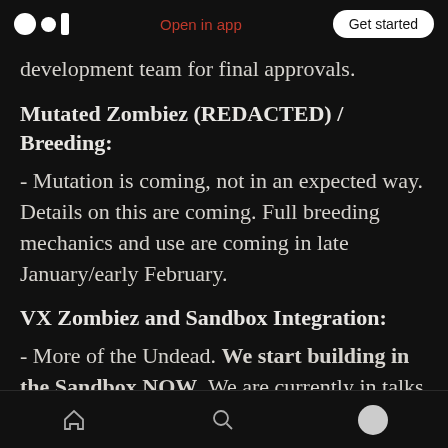Medium logo | Open in app | Get started
development team for final approvals.
Mutated Zombiez (REDACTED) / Breeding:
- Mutation is coming, not in an expected way. Details on this are coming. Full breeding mechanics and use are coming in late January/early February.
VX Zombiez and Sandbox Integration:
- More of the Undead. We start building in the Sandbox NOW. We are currently in talks with a builder in the...
Home | Search | Profile